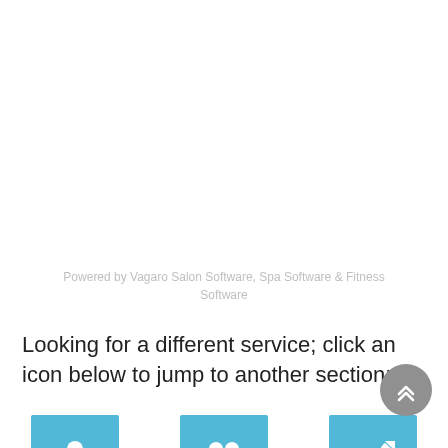Powered by Vagaro Salon Software, Spa Software & Fitness Software
Looking for a different service; click an icon below to jump to another section:
[Figure (illustration): Three blue square icon buttons partially visible at the bottom of the page, with white icons inside representing different services]
[Figure (illustration): Gray circular scroll-to-top button with double chevron arrow pointing up]